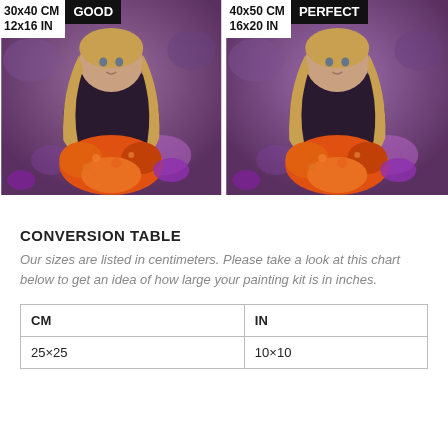[Figure (photo): Two side-by-side photos of a young girl with long blonde hair holding orange flowers against a purple background. Left panel labeled '30x40 CM / 12x16 IN' with badge 'GOOD'. Right panel labeled '40x50 CM / 16x20 IN' with badge 'PERFECT'.]
CONVERSION TABLE
Our sizes are listed in centimeters. Please take a look at this chart below to get an idea of how large your painting kit is in inches.
| CM | IN |
| --- | --- |
| 25×25 | 10×10 |